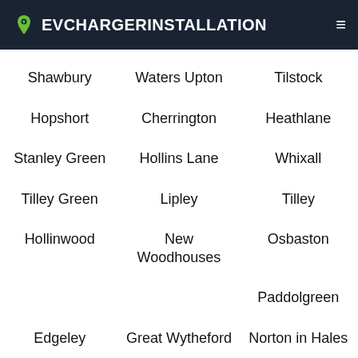EVCHARGERINSTALLATION
Shawbury
Waters Upton
Tilstock
Hopshort
Cherrington
Heathlane
Stanley Green
Hollins Lane
Whixall
Tilley Green
Lipley
Tilley
Hollinwood
New Woodhouses
Osbaston
Paddolgreen
Edgeley
Great Wytheford
Norton in Hales
Tibberton
Lowe
Catteralslane
Conquermoor